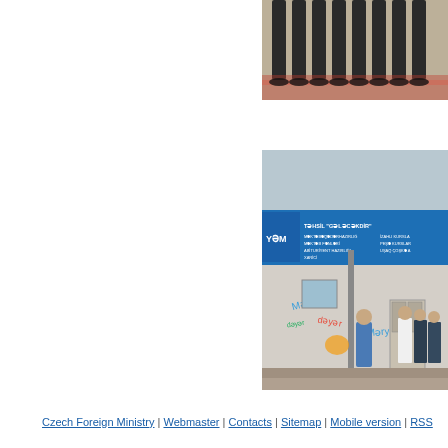[Figure (photo): Top photo showing people's feet/lower body on a patterned carpet/floor, cropped at top.]
[Figure (photo): Photo of an educational center building exterior with a blue sign reading 'Təhsil Gələcəkdir' (Education is the Future) in Azerbaijani. Several people stand in front. Graffiti/murals visible on building walls.]
Czech Foreign Ministry | Webmaster | Contacts | Sitemap | Mobile version | RSS